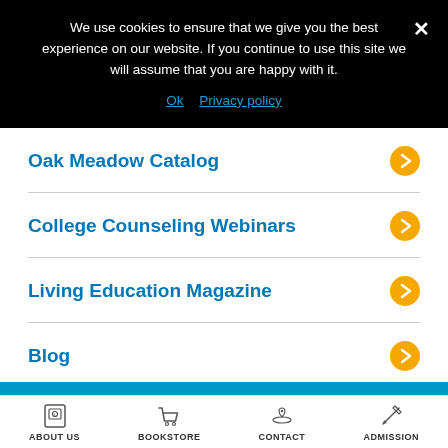We use cookies to ensure that we give you the best experience on our website. If you continue to use this site we will assume that you are happy with it.
Oak Meadow Catalog
College Counseling Webinars
Living Education Magazine
Blog
ABOUT US  BOOKSTORE  CONTACT  ADMISSION